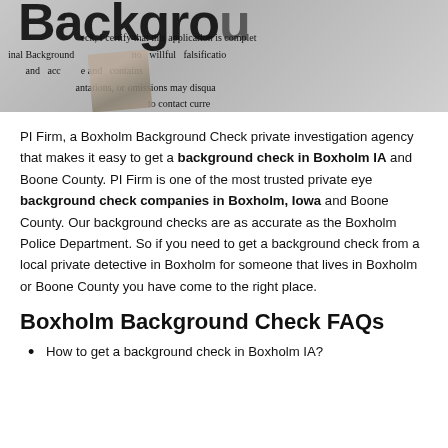[Figure (photo): Close-up photo of a background check application form with text including 'Background', 'Criminal Background Check', 'I certify that this application is complete', 'and contains no willful falsification', 'or omissions may disqualify', 'to contact current'. A hand or pen is partially visible over the form.]
PI Firm, a Boxholm Background Check private investigation agency that makes it easy to get a background check in Boxholm IA and Boone County. PI Firm is one of the most trusted private eye background check companies in Boxholm, Iowa and Boone County. Our background checks are as accurate as the Boxholm Police Department. So if you need to get a background check from a local private detective in Boxholm for someone that lives in Boxholm or Boone County you have come to the right place.
Boxholm Background Check FAQs
How to get a background check in Boxholm IA?